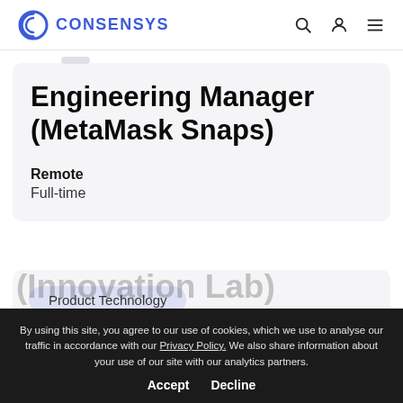CONSENSYS
Engineering Manager (MetaMask Snaps)
Remote
Full-time
Product Technology
(Innovation Lab)
By using this site, you agree to our use of cookies, which we use to analyse our traffic in accordance with our Privacy Policy. We also share information about your use of our site with our analytics partners.
Accept  Decline